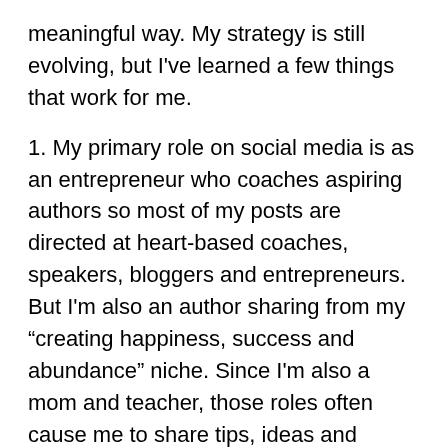meaningful way. My strategy is still evolving, but I've learned a few things that work for me.
1. My primary role on social media is as an entrepreneur who coaches aspiring authors so most of my posts are directed at heart-based coaches, speakers, bloggers and entrepreneurs. But I'm also an author sharing from my “creating happiness, success and abundance” niche. Since I'm also a mom and teacher, those roles often cause me to share tips, ideas and sources from those persepectives too.
2. My insatiable curiosity, love of researching and need to share what I learn with others makes my tweets and postings usually outward-directed rather than self-serving. I love sharing what coaches, entrepreneurs and others are writing, doing and creating online.